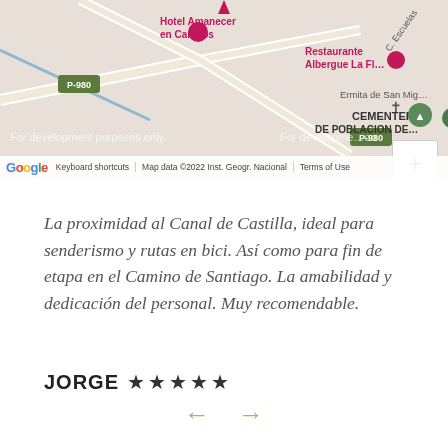[Figure (map): Google Maps screenshot showing an area near Hotel Amanecer en Campos, Restaurante Albergue La Fl..., Ermita de San Mig..., CEMENTERIO DE POBLACION DE..., with roads labeled P-980 and C. Escuelas. Shows 'For development purposes only' watermark and Google branding with map data copyright 2022 Inst. Geogr. Nacional.]
La proximidad al Canal de Castilla, ideal para senderismo y rutas en bici. Así como para fin de etapa en el Camino de Santiago. La amabilidad y dedicación del personal. Muy recomendable.
JORGE ★★★★★